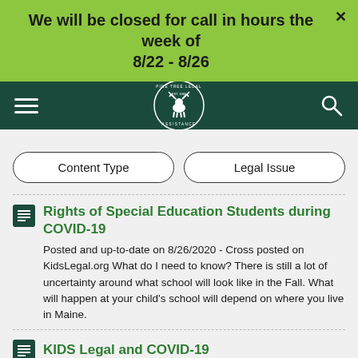We will be closed for call in hours the week of 8/22 - 8/26
[Figure (logo): Pine Tree Legal Assistance circular logo with moose, on dark teal navigation bar with hamburger menu and search icon]
Content Type
Legal Issue
Rights of Special Education Students during COVID-19
Posted and up-to-date on 8/26/2020 - Cross posted on KidsLegal.org What do I need to know? There is still a lot of uncertainty around what school will look like in the Fall. What will happen at your child's school will depend on where you live in Maine.
KIDS Legal and COVID-19